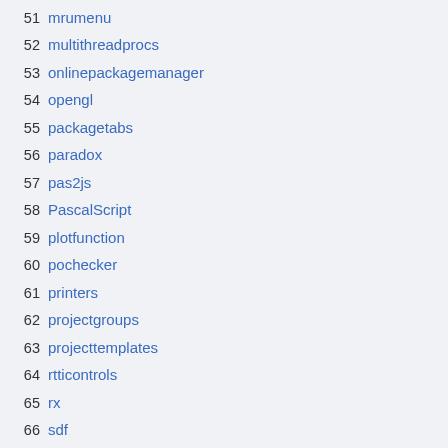51 mrumenu
52 multithreadprocs
53 onlinepackagemanager
54 opengl
55 packagetabs
56 paradox
57 pas2js
58 PascalScript
59 plotfunction
60 pochecker
61 printers
62 projectgroups
63 projecttemplates
64 rtticontrols
65 rx
66 sdf
67 simpleideintf
68 sparta
69 sqldb
70 sqlite
71 synedit
72 synunihighlighter